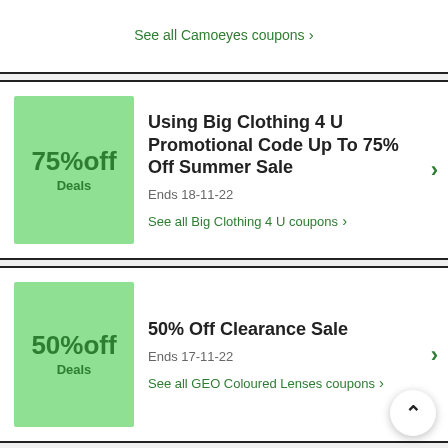See all Camoeyes coupons >
Using Big Clothing 4 U Promotional Code Up To 75% Off Summer Sale
Ends 18-11-22
See all Big Clothing 4 U coupons >
50% Off Clearance Sale
Ends 17-11-22
See all GEO Coloured Lenses coupons >
Buy Steganos Safe 17 ES For As Low As $29.95